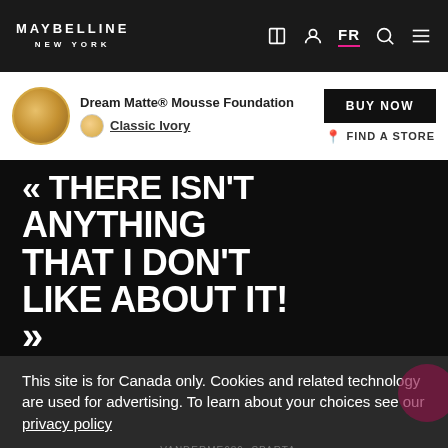MAYBELLINE NEW YORK — FR (navigation bar with icons)
Dream Matte® Mousse Foundation
Classic Ivory
BUY NOW
FIND A STORE
« THERE ISN'T ANYTHING THAT I DON'T LIKE ABOUT IT! »
This site is for Canada only. Cookies and related technology are used for advertising. To learn about your choices see our privacy policy
- VANDERME689, SPARTA
I ACCEPT